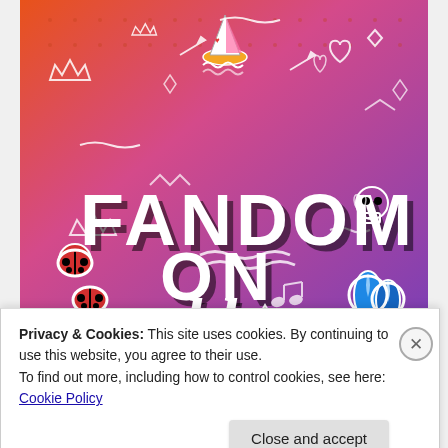[Figure (illustration): Colorful orange-to-purple gradient banner image with white doodle drawings of crowns, arrows, hearts, diamonds, and other decorative elements. Features stickers of ladybugs, a sailboat, blue flame/water drops, and a skull. Large bold text reads 'FANDOM ON tumblr' — 'FANDOM' and 'ON' in white block letters with black drop shadow, 'tumblr' in a rounded serif/display font.]
Privacy & Cookies: This site uses cookies. By continuing to use this website, you agree to their use.
To find out more, including how to control cookies, see here: Cookie Policy